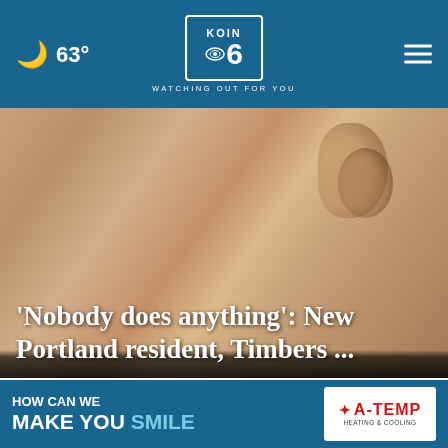63° KOIN 6 CBS WATCHING OUT FOR YOU
[Figure (photo): Close-up photo of a person's face/ear, dark skin, gold earring visible, used as hero image background]
'Nobody does anything': New Portland resident, Timbers ...
[Figure (photo): Thumbnail image of building exterior with play button overlay]
[Figure (photo): Thumbnail image of aerial/overhead view with close button]
HOW CAN WE MAKE YOU SMILE
[Figure (logo): A-TEMP logo advertisement]